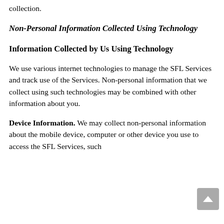collection.
Non-Personal Information Collected Using Technology
Information Collected by Us Using Technology
We use various internet technologies to manage the SFL Services and track use of the Services. Non-personal information that we collect using such technologies may be combined with other information about you.
Device Information. We may collect non-personal information about the mobile device, computer or other device you use to access the SFL Services, such